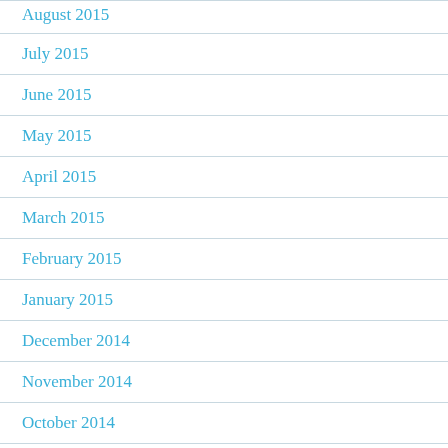August 2015
July 2015
June 2015
May 2015
April 2015
March 2015
February 2015
January 2015
December 2014
November 2014
October 2014
September 2014